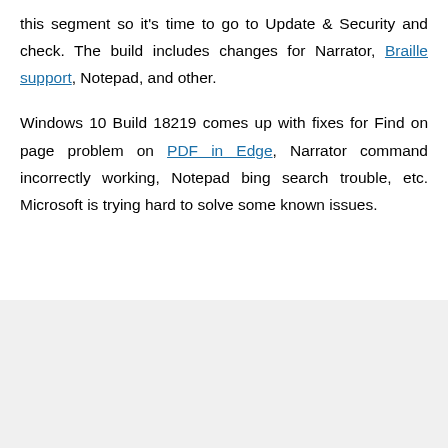this segment so it's time to go to Update & Security and check. The build includes changes for Narrator, Braille support, Notepad, and other.
Windows 10 Build 18219 comes up with fixes for Find on page problem on PDF in Edge, Narrator command incorrectly working, Notepad bing search trouble, etc. Microsoft is trying hard to solve some known issues.